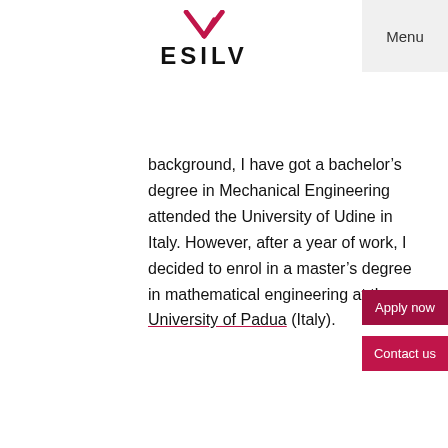[Figure (logo): ESILV logo with red V checkmark and bold black ESILV text]
Menu
background, I have got a bachelor’s degree in Mechanical Engineering attended the University of Udine in Italy. However, after a year of work, I decided to enrol in a master’s degree in mathematical engineering at the University of Padua (Italy).
Apply now
Contact us
During the enrollment process, I discovered the possibility of undertaking a hybrid course of study between mathematics and financial engineering. The second-year (M2), in financial engineering, is held in Paris at ESILV.
Having the opportunity to study in two of the best